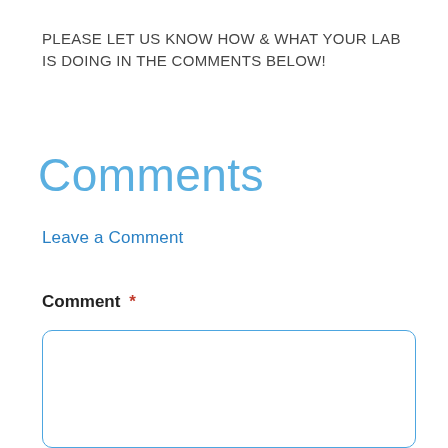PLEASE LET US KNOW HOW & WHAT YOUR LAB IS DOING IN THE COMMENTS BELOW!
Comments
Leave a Comment
Comment *
[Figure (other): Empty comment text input box with rounded blue border]